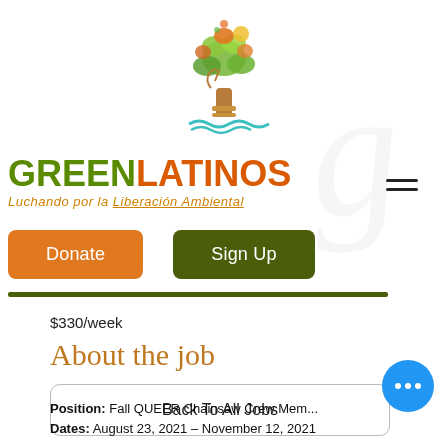[Figure (logo): GreenLatinos tree logo with colorful leaves and decorative base, with teal wave decoration below]
GREENLATINOS
Luchando por la Liberación Ambiental
[Figure (other): Hamburger menu icon (three horizontal lines)]
Donate
Sign Up
$330/week
About the job
Back To All Jobs
Position: Fall QUEER Chainsaw Crew Mem...
Dates: August 23, 2021 – November 12, 2021